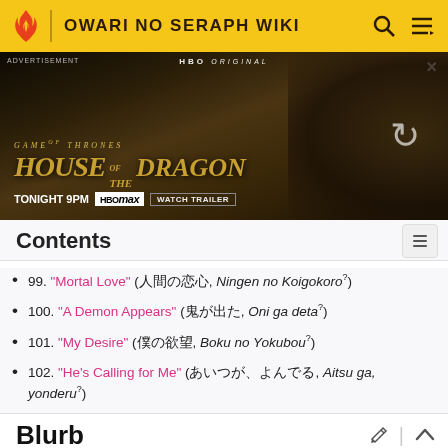OWARI NO SERAPH WIKI
[Figure (screenshot): HBO Max advertisement for House of the Dragon, Game of Thrones prequel. Tonight 9PM. Watch Trailer.]
Contents
99. "Mortal Love" (人間の恋心, Ningen no Koigokoro?)
100. "A Demon Appears" (鬼が出た, Oni ga deta?)
101. "My Desire" (僕の欲望, Boku no Yokubou?)
102. "He's Calling for Me" (あいつが、よんでる, Aitsu ga, yonderu?)
Blurb
Japanese